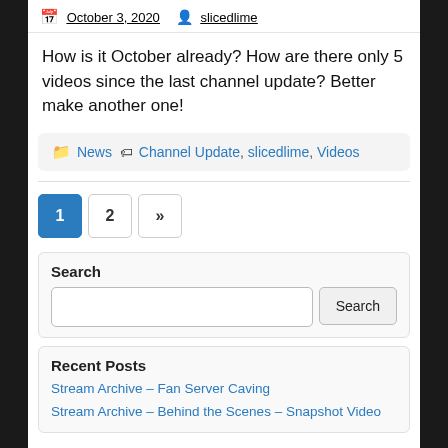October 3, 2020   slicedlime
How is it October already? How are there only 5 videos since the last channel update? Better make another one!
News   Channel Update, slicedlime, Videos
1
2
»
Search
Recent Posts
Stream Archive – Fan Server Caving
Stream Archive – Behind the Scenes – Snapshot Video